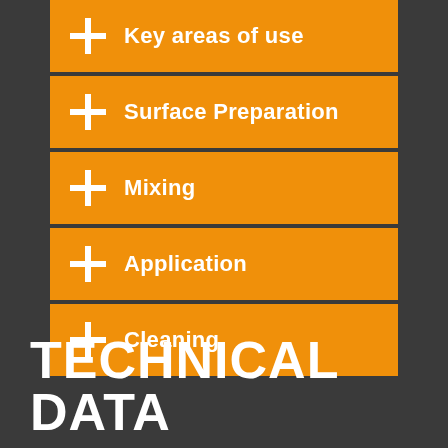+ Key areas of use
+ Surface Preparation
+ Mixing
+ Application
+ Cleaning
TECHNICAL DATA